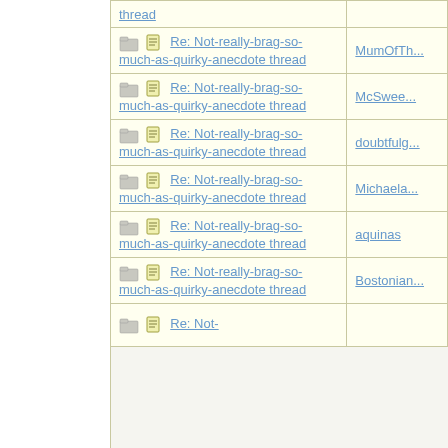| Subject | Author |
| --- | --- |
| Re: Not-really-brag-so-much-as-quirky-anecdote thread | MumOfTh... |
| Re: Not-really-brag-so-much-as-quirky-anecdote thread | McSwee... |
| Re: Not-really-brag-so-much-as-quirky-anecdote thread | doubtfulg... |
| Re: Not-really-brag-so-much-as-quirky-anecdote thread | Michaela... |
| Re: Not-really-brag-so-much-as-quirky-anecdote thread | aquinas |
| Re: Not-really-brag-so-much-as-quirky-anecdote thread | Bostonian... |
| Re: Not-... |  |